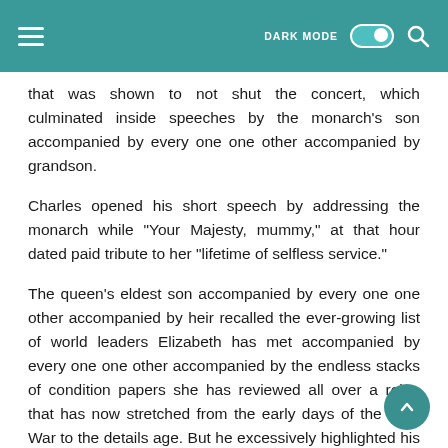DARK MODE [toggle] [search]
that was shown to not shut the concert, which culminated inside speeches by the monarch's son accompanied by every one one other accompanied by grandson.
Charles opened his short speech by addressing the monarch while "Your Majesty, mummy," at that hour dated paid tribute to her "lifetime of selfless service."
The queen's eldest son accompanied by every one one other accompanied by heir recalled the ever-growing list of world leaders Elizabeth has met accompanied by every one one other accompanied by the endless stacks of condition papers she has reviewed all over a reign that has now stretched from the early days of the Cold War to the details age. But he excessively highlighted his mother's small portion while a symbol of stability,